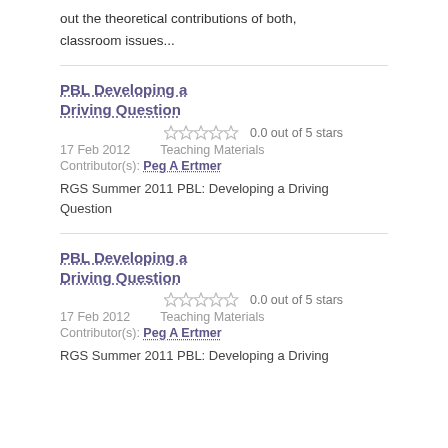out the theoretical contributions of both, classroom issues...
PBL Developing a Driving Question
0.0 out of 5 stars
17 Feb 2012    Teaching Materials    Contributor(s): Peg A Ertmer
RGS Summer 2011 PBL: Developing a Driving Question
PBL Developing a Driving Question
0.0 out of 5 stars
17 Feb 2012    Teaching Materials    Contributor(s): Peg A Ertmer
RGS Summer 2011 PBL: Developing a Driving